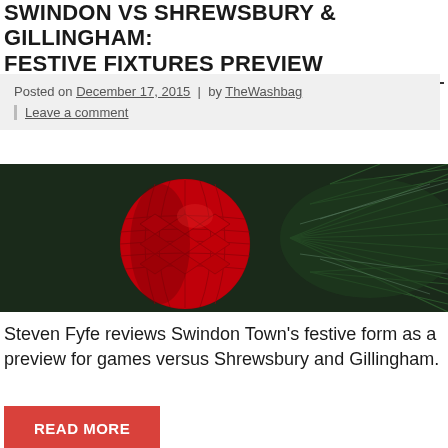SWINDON VS SHREWSBURY & GILLINGHAM: FESTIVE FIXTURES PREVIEW
Posted on December 17, 2015 | by TheWashbag
Leave a comment
[Figure (photo): Close-up photo of a red honeycomb paper Christmas ornament ball next to green pine tree branches]
Steven Fyfe reviews Swindon Town's festive form as a preview for games versus Shrewsbury and Gillingham.
READ MORE